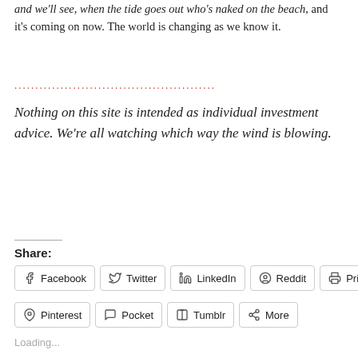and we'll see, when the tide goes out who's naked on the beach, and it's coming on now. The world is changing as we know it.
....................................................
Nothing on this site is intended as individual investment advice. We're all watching which way the wind is blowing.
Share:
Facebook  Twitter  LinkedIn  Reddit  Print  Pinterest  Pocket  Tumblr  More
Loading...